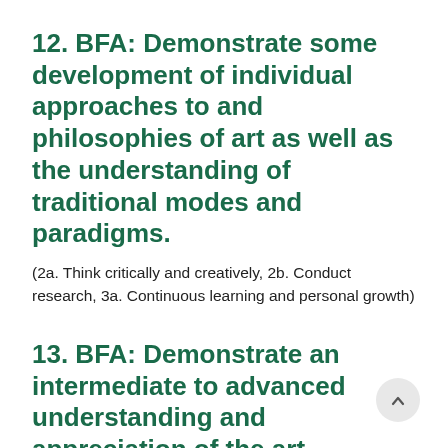12. BFA: Demonstrate some development of individual approaches to and philosophies of art as well as the understanding of traditional modes and paradigms.
(2a. Think critically and creatively, 2b. Conduct research, 3a. Continuous learning and personal growth)
13. BFA: Demonstrate an intermediate to advanced understanding and appreciation of the art-historical contexts which formed our present approach to the visual arts.